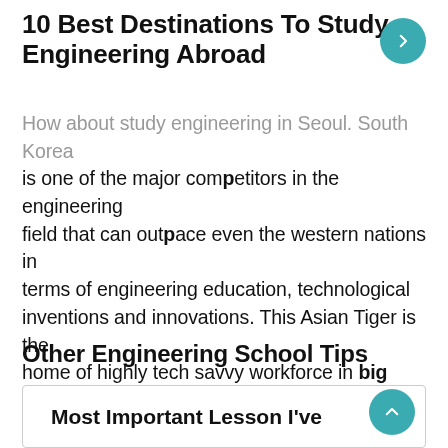10 Best Destinations To Study Engineering Abroad
How about study engineering in Seoul. South Korea is one of the major competitors in the engineering field that can outpace even the western nations in terms of engineering education, technological inventions and innovations. This Asian Tiger is the home of highly tech savvy workforce in big industries and conglomerates such as Samsung, LG and Hyundai. The Korea Advanced Institute of Science and Technology (KAIST) and Seoul National University are its top engineering institutions.
Other Engineering School Tips
Most Important Lesson I've